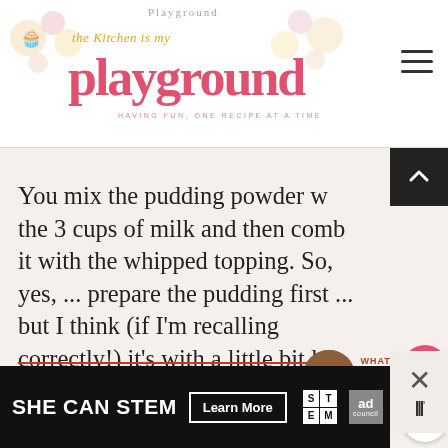[Figure (logo): The Kitchen is my Playground blog logo with pink text 'playground' and decorative flowers/cupcakes]
You mix the pudding powder with the 3 cups of milk and then combine it with the whipped topping. So, yes, ... prepare the pudding first ... but I think (if I'm recalling correctly!) it's with a little bit less milk than the pudding package calls for. Enjoy!!
Unknown
[Figure (screenshot): SHE CAN STEM advertisement banner with Learn More button]